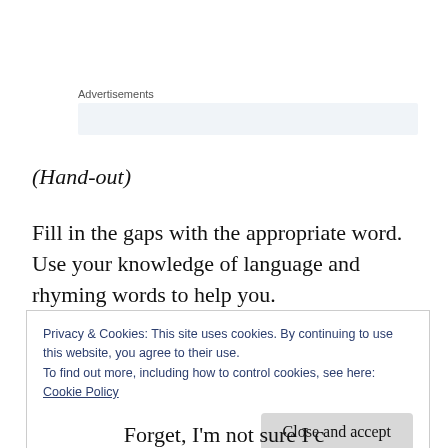Advertisements
(Hand-out)
Fill in the gaps with the appropriate word. Use your knowledge of language and rhyming words to help you.
Privacy & Cookies: This site uses cookies. By continuing to use this website, you agree to their use.
To find out more, including how to control cookies, see here:
Cookie Policy
Close and accept
Forget, I'm not sure I c